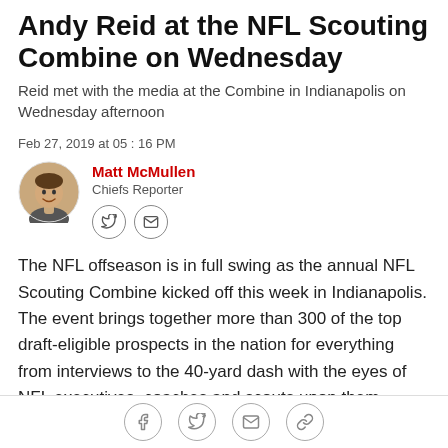Andy Reid at the NFL Scouting Combine on Wednesday
Reid met with the media at the Combine in Indianapolis on Wednesday afternoon
Feb 27, 2019 at 05:16 PM
Matt McMullen
Chiefs Reporter
The NFL offseason is in full swing as the annual NFL Scouting Combine kicked off this week in Indianapolis. The event brings together more than 300 of the top draft-eligible prospects in the nation for everything from interviews to the 40-yard dash with the eyes of NFL executives, coaches and scouts upon them.
Social share icons: Facebook, Twitter, Email, Link